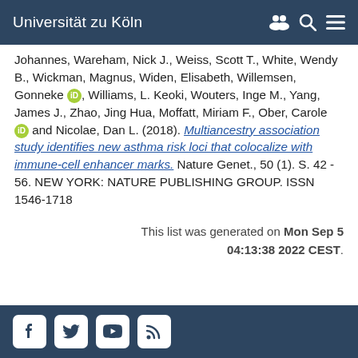Universität zu Köln
Johannes, Wareham, Nick J., Weiss, Scott T., White, Wendy B., Wickman, Magnus, Widen, Elisabeth, Willemsen, Gonneke [orcid], Williams, L. Keoki, Wouters, Inge M., Yang, James J., Zhao, Jing Hua, Moffatt, Miriam F., Ober, Carole [orcid] and Nicolae, Dan L. (2018). Multiancestry association study identifies new asthma risk loci that colocalize with immune-cell enhancer marks. Nature Genet., 50 (1). S. 42 - 56. NEW YORK: NATURE PUBLISHING GROUP. ISSN 1546-1718
This list was generated on Mon Sep 5 04:13:38 2022 CEST.
Social media icons: Facebook, Twitter, YouTube, RSS